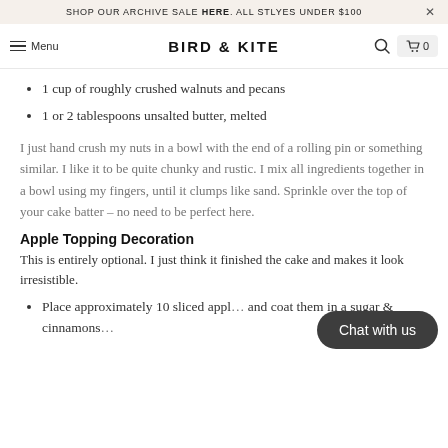SHOP OUR ARCHIVE SALE HERE. ALL STLYES UNDER $100  ×
Menu  BIRD & KITE  🔍  🛒 0
1 cup of roughly crushed walnuts and pecans
1 or 2 tablespoons unsalted butter, melted
I just hand crush my nuts in a bowl with the end of a rolling pin or something similar. I like it to be quite chunky and rustic. I mix all ingredients together in a bowl using my fingers, until it clumps like sand. Sprinkle over the top of your cake batter – no need to be perfect here.
Apple Topping Decoration
This is entirely optional. I just think it finished the cake and makes it look irresistible.
Place approximately 10 sliced appl… and coat them in a sugar & cinnamons…
Place them on the top of the cake and batter…